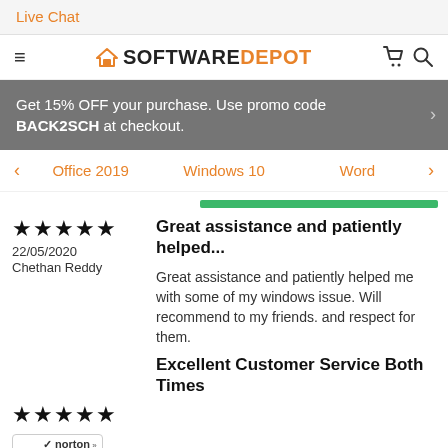Live Chat
[Figure (logo): SoftwareDepot logo with house icon, hamburger menu on left, cart and search icons on right]
Get 15% OFF your purchase. Use promo code BACK2SCH at checkout.
Office 2019   Windows 10   Word
Great assistance and patiently helped...
22/05/2020
Chethan Reddy
Great assistance and patiently helped me with some of my windows issue. Will recommend to my friends. and respect for them.
Excellent Customer Service Both Times
[Figure (logo): Norton Shopping Guarantee badge with verifying... text]